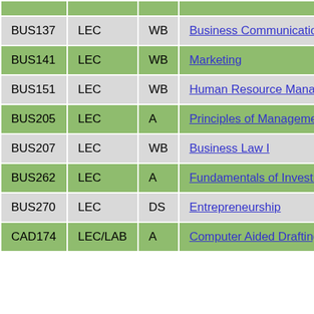| Course | Type | Section | Title | Credits | Instructor |
| --- | --- | --- | --- | --- | --- |
| BUS137 | LEC | WB | Business Communications | 3 | Dybas, Charlene |
| BUS141 | LEC | WB | Marketing | 3 | Henderson, Alexandra |
| BUS151 | LEC | WB | Human Resource Management | 3 | Dybas, Charlene |
| BUS205 | LEC | A | Principles of Management | 3 | Henderson, Alexandra |
| BUS207 | LEC | WB | Business Law I | 3 | Zuckerman, Lauren |
| BUS262 | LEC | A | Fundamentals of Investments | 3 | Zuckerman, Lauren |
| BUS270 | LEC | DS | Entrepreneurship | 3 | Henderson, Alexandra |
| CAD174 | LEC/LAB | A | Computer Aided Drafting | 3 | Carrico, Zachary |